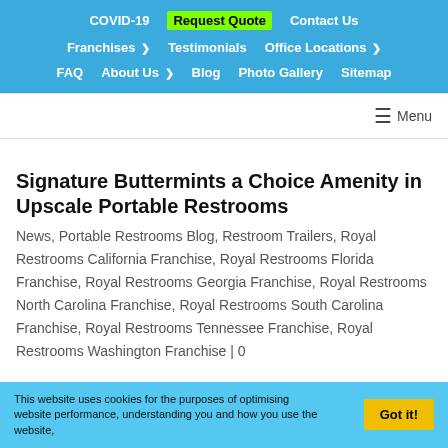COVID-19  Request Quote  Contact Us  Franchises  Testimonials  Office Locations  FAQ  About Us  Blog  Photo Gallery  Sitemap
≡ Menu
Signature Buttermints a Choice Amenity in Upscale Portable Restrooms
News, Portable Restrooms Blog, Restroom Trailers, Royal Restrooms California Franchise, Royal Restrooms Florida Franchise, Royal Restrooms Georgia Franchise, Royal Restrooms North Carolina Franchise, Royal Restrooms South Carolina Franchise, Royal Restrooms Tennessee Franchise, Royal Restrooms Washington Franchise | 0
This website uses cookies for the purposes of optimising website performance, understanding you and how you use the website,